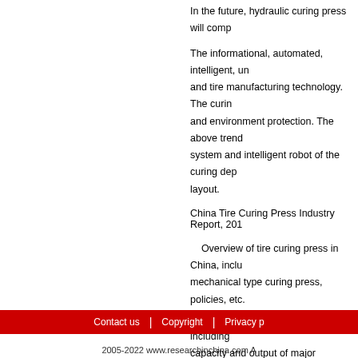In the future, hydraulic curing press will comp
The informational, automated, intelligent, un and tire manufacturing technology. The curi and environment protection. The above tren system and intelligent robot of the curing dep layout.
China Tire Curing Press Industry Report, 201
Overview of tire curing press in China, incl mechanical type curing press, policies, etc.
Tire curing press market in China, includin capacity and output of major companies;
Tire curing press downstream in China, inc
Major tire manufacturers at home and abro volume, etc.
Contact us | Copyright | Privacy p 2005-2022 www.researchinchina.com A